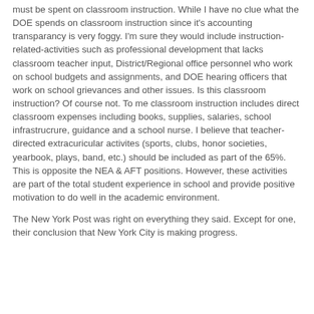must be spent on classroom instruction. While I have no clue what the DOE spends on classroom instruction since it's accounting transparancy is very foggy. I'm sure they would include instruction-related-activities such as professional development that lacks classroom teacher input, District/Regional office personnel who work on school budgets and assignments, and DOE hearing officers that work on school grievances and other issues. Is this classroom instruction? Of course not. To me classroom instruction includes direct classroom expenses including books, supplies, salaries, school infrastrucrure, guidance and a school nurse. I believe that teacher-directed extracuricular activites (sports, clubs, honor societies, yearbook, plays, band, etc.) should be included as part of the 65%. This is opposite the NEA & AFT positions. However, these activities are part of the total student experience in school and provide positive motivation to do well in the academic environment.
The New York Post was right on everything they said. Except for one, their conclusion that New York City is making progress.